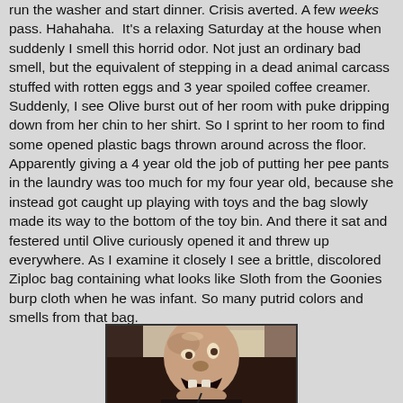run the washer and start dinner. Crisis averted. A few weeks pass. Hahahaha.  It's a relaxing Saturday at the house when suddenly I smell this horrid odor. Not just an ordinary bad smell, but the equivalent of stepping in a dead animal carcass stuffed with rotten eggs and 3 year spoiled coffee creamer. Suddenly, I see Olive burst out of her room with puke dripping down from her chin to her shirt. So I sprint to her room to find some opened plastic bags thrown around across the floor. Apparently giving a 4 year old the job of putting her pee pants in the laundry was too much for my four year old, because she instead got caught up playing with toys and the bag slowly made its way to the bottom of the toy bin. And there it sat and festered until Olive curiously opened it and threw up everywhere. As I examine it closely I see a brittle, discolored Ziploc bag containing what looks like Sloth from the Goonies burp cloth when he was infant. So many putrid colors and smells from that bag.
[Figure (photo): A photo of Sloth from the Goonies movie, a bald disfigured character with an open mouth expression, appearing to be inside a vehicle.]